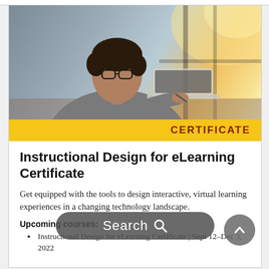[Figure (photo): Man with glasses sitting at a desk working on a laptop near a bright window, warm sunlight in background]
CERTIFICATE
Instructional Design for eLearning Certificate
Get equipped with the tools to design interactive, virtual learning experiences in a changing technology landscape.
Upcoming courses:
Instructional Design for eLearning Certificate | Sept 12–Dec 3, 2022